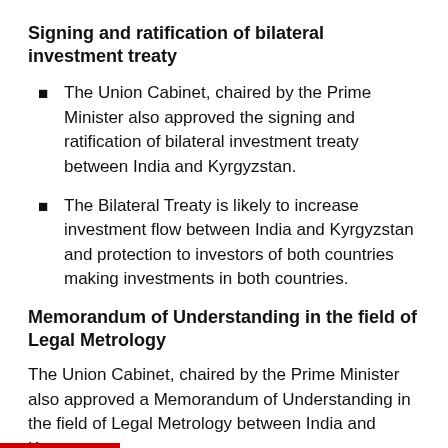Signing and ratification of bilateral investment treaty
The Union Cabinet, chaired by the Prime Minister also approved the signing and ratification of bilateral investment treaty between India and Kyrgyzstan.
The Bilateral Treaty is likely to increase investment flow between India and Kyrgyzstan and protection to investors of both countries making investments in both countries.
Memorandum of Understanding in the field of Legal Metrology
The Union Cabinet, chaired by the Prime Minister also approved a Memorandum of Understanding in the field of Legal Metrology between India and Kyrgyzstan
Benefits